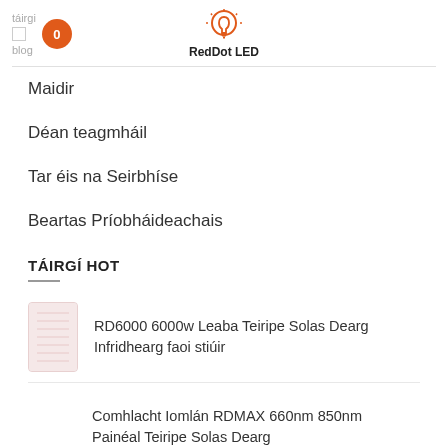táirgi blog RedDot LED
Maidir
Déan teagmháil
Tar éis na Seirbhíse
Beartas Príobháideachais
TÁIRGÍ HOT
RD6000 6000w Leaba Teiripe Solas Dearg Infridhearg faoi stiúir
Comhlacht Iomlán RDMAX 660nm 850nm Painéal Teiripe Solas Dearg